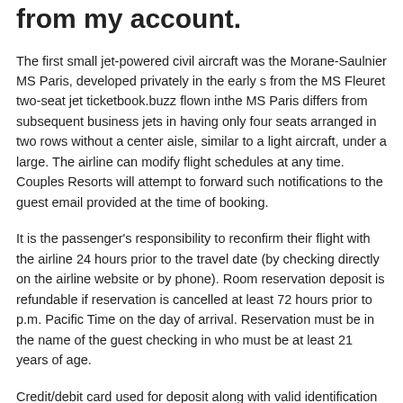from my account.
The first small jet-powered civil aircraft was the Morane-Saulnier MS Paris, developed privately in the early s from the MS Fleuret two-seat jet ticketbook.buzz flown inthe MS Paris differs from subsequent business jets in having only four seats arranged in two rows without a center aisle, similar to a light aircraft, under a large. The airline can modify flight schedules at any time. Couples Resorts will attempt to forward such notifications to the guest email provided at the time of booking.
It is the passenger's responsibility to reconfirm their flight with the airline 24 hours prior to the travel date (by checking directly on the airline website or by phone). Room reservation deposit is refundable if reservation is cancelled at least 72 hours prior to p.m. Pacific Time on the day of arrival. Reservation must be in the name of the guest checking in who must be at least 21 years of age.
Credit/debit card used for deposit along with valid identification required upon check-in. Please note, TSA PreCheck inquiries time sensitive - the information you provide must be within 72